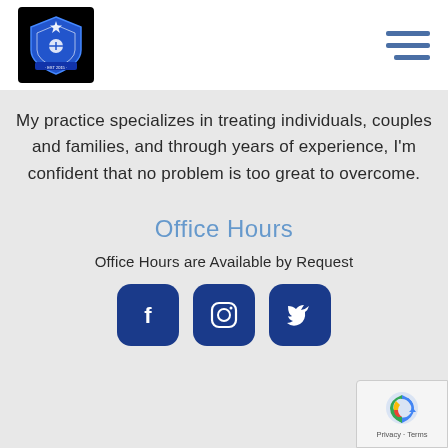[Figure (logo): Blue shield/badge logo with white graphics on black background, top-left of header]
[Figure (other): Hamburger menu icon (three horizontal blue bars), top-right of header]
My practice specializes in treating individuals, couples and families, and through years of experience, I'm confident that no problem is too great to overcome.
Office Hours
Office Hours are Available by Request
[Figure (other): Three dark blue rounded square social media icons: Facebook (f), Instagram (circle/square camera), Twitter (bird)]
[Figure (other): Google reCAPTCHA badge, bottom-right corner, showing reCAPTCHA logo and 'Privacy · Terms' text]